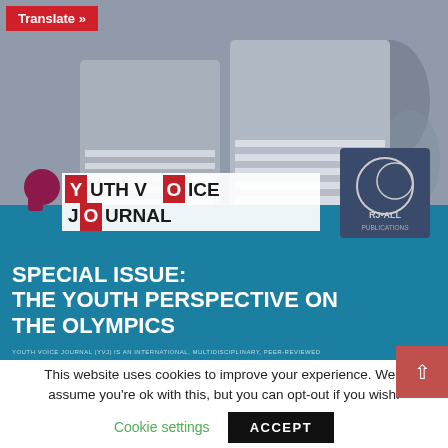[Figure (photo): Cover of Youth Voice Journal special issue showing two young women in striped shirts, with journal logo overlay and teal bar at bottom. Text: SPECIAL ISSUE: THE YOUTH PERSPECTIVE ON THE OLYMPICS. RJAll Publications logo visible top right of image area.]
SPECIAL ISSUE: THE YOUTH PERSPECTIVE ON THE OLYMPICS
YOUTH VOICE JOURNAL (YVJ) IS AN INTERNATIONAL, MULTIDISCIPLINARY, PEER-REVIEWED
This website uses cookies to improve your experience. We'll assume you're ok with this, but you can opt-out if you wish.
Cookie settings   ACCEPT